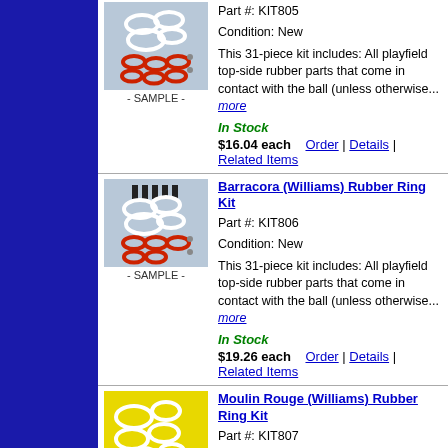[Figure (photo): Rubber ring kit product photo showing white rings and red rings on blue background, labeled SAMPLE]
Part #: KIT805
Condition: New

This 31-piece kit includes: All playfield top-side rubber parts that come in contact with the ball (unless otherwise... more

In Stock
$16.04 each    Order | Details | Related Items
[Figure (photo): Barracora rubber ring kit product photo showing white rings and red rings on blue background, labeled SAMPLE]
Barracora (Williams) Rubber Ring Kit
Part #: KIT806
Condition: New

This 31-piece kit includes: All playfield top-side rubber parts that come in contact with the ball (unless otherwise... more

In Stock
$19.26 each    Order | Details | Related Items
[Figure (photo): Moulin Rouge rubber ring kit product photo showing white rings on yellow background]
Moulin Rouge (Williams) Rubber Ring Kit
Part #: KIT807
Condition: New

This 34-piece kit includes: All playfield top-side rubber parts